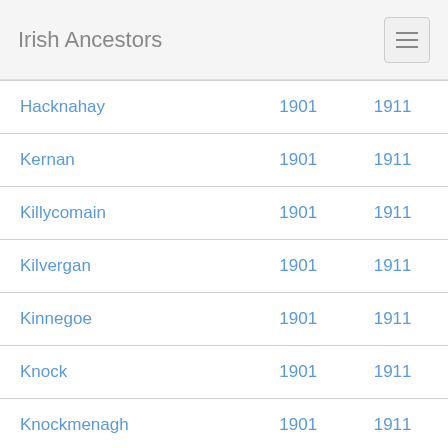Irish Ancestors
|  | 1901 | 1911 |
| --- | --- | --- |
| Hacknahay | 1901 | 1911 |
| Kernan | 1901 | 1911 |
| Killycomain | 1901 | 1911 |
| Kilvergan | 1901 | 1911 |
| Kinnegoe | 1901 | 1911 |
| Knock | 1901 | 1911 |
| Knockmenagh | 1901 | 1911 |
| Knocknamuckly | 1901 | 1911 |
| Knockramer | 1901 | 1911 |